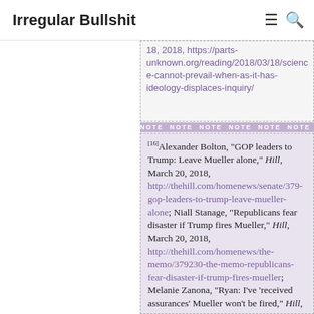Irregular Bullshit
18, 2018, https://parts-unknown.org/reading/2018/03/18/science-cannot-prevail-when-as-it-has-ideology-displaces-inquiry/
[16]Alexander Bolton, "GOP leaders to Trump: Leave Mueller alone," Hill, March 20, 2018, http://thehill.com/homenews/senate/379-gop-leaders-to-trump-leave-mueller-alone; Niall Stanage, "Republicans fear disaster if Trump fires Mueller," Hill, March 20, 2018, http://thehill.com/homenews/the-memo/379230-the-memo-republicans-fear-disaster-if-trump-fires-mueller; Melanie Zanona, "Ryan: I've 'received assurances' Mueller won't be fired," Hill, March 20, 2018, http://thehill.com/homenews/house/379-ryan-ive-received-